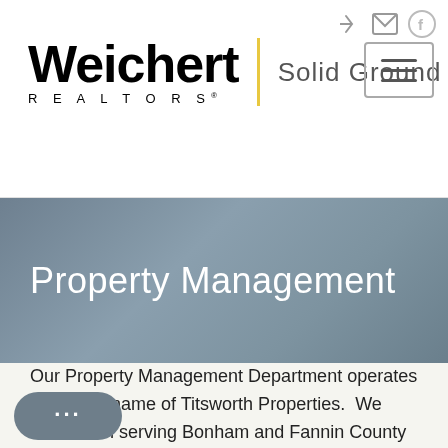[Figure (logo): Weichert Realtors Solid Ground logo with yellow vertical divider bar]
Property Management
Our Property Management Department operates under the name of Titsworth Properties.  We have been serving Bonham and Fannin County since 2009.  We specialize in single-family and multi-family units.  Our services are specailized to meet personal and business needs.  We can help you with